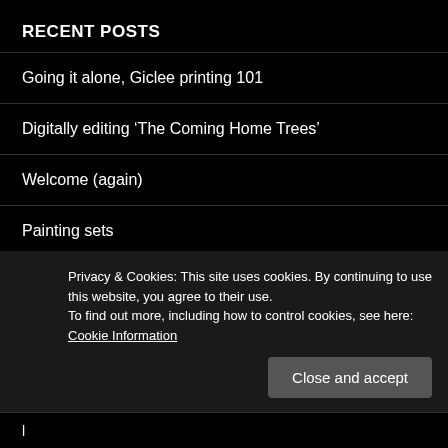RECENT POSTS
Going it alone, Giclee printing 101
Digitally editing ‘The Coming Home Trees’
Welcome (again)
Painting sets
Time to reflect on the good things
Privacy & Cookies: This site uses cookies. By continuing to use this website, you agree to their use.
To find out more, including how to control cookies, see here: Cookie Information
Close and accept